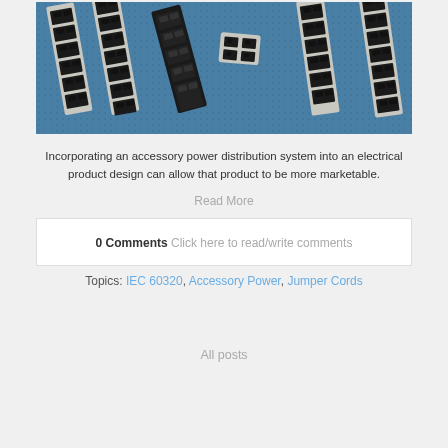[Figure (photo): Photograph of IEC 60320 power connectors and jumper cords arranged on a blue background, showing multiple black and grey electrical connector strips and individual connectors.]
Incorporating an accessory power distribution system into an electrical product design can allow that product to be more marketable.
Read More
0 Comments Click here to read/write comments
Topics: IEC 60320, Accessory Power, Jumper Cords
All posts